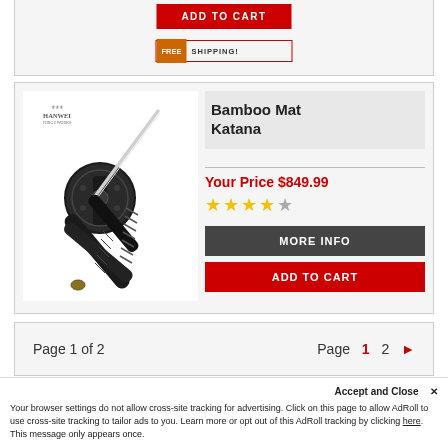[Figure (screenshot): Add to Cart red button at top of page]
[Figure (screenshot): Free Shipping badge with orange FREE label and red border]
Bamboo Mat Katana
Your Price $849.99
[Figure (other): 4 out of 5 star rating shown as gold and gray stars]
MORE INFO
ADD TO CART
[Figure (photo): Hanwei Bamboo Mat Katana sword with tsuba guard, black saya sheath, and blade displayed]
Page 1 of 2
Page  1  2  ►
Accept and Close ✕
Your browser settings do not allow cross-site tracking for advertising. Click on this page to allow AdRoll to use cross-site tracking to tailor ads to you. Learn more or opt out of this AdRoll tracking by clicking here. This message only appears once.